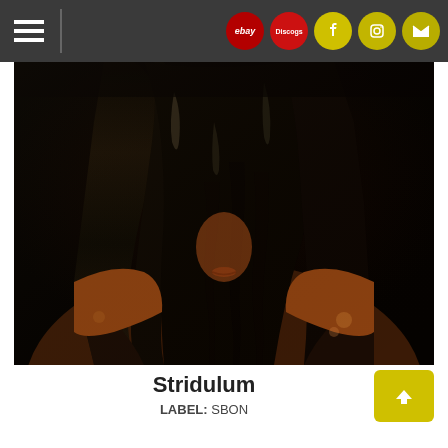Navigation header with hamburger menu and social icons: ebay, Discogs, Facebook, Instagram, Email
[Figure (photo): Close-up photo of a human figure covered in black glossy liquid (oil or tar), face obscured, wearing what appears to be a dark jacket, with brownish skin tones visible beneath the dripping substance]
Stridulum
LABEL: SBON